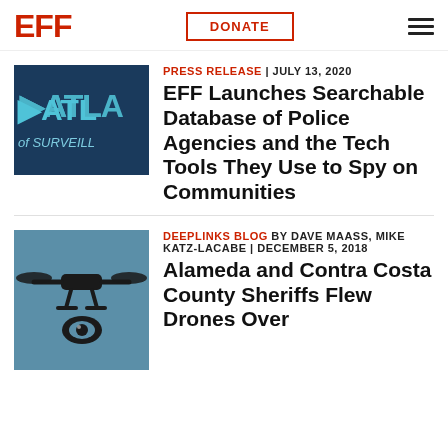EFF | DONATE | Menu
[Figure (illustration): Atlas of Surveillance logo — dark navy blue background with text 'ATLAS of SURVEILLANCE' in teal/cyan lettering]
PRESS RELEASE | JULY 13, 2020
EFF Launches Searchable Database of Police Agencies and the Tech Tools They Use to Spy on Communities
[Figure (illustration): Drone surveillance illustration — blue-grey background with black drone and eye/camera icon underneath]
DEEPLINKS BLOG BY DAVE MAASS, MIKE KATZ-LACABE | DECEMBER 5, 2018
Alameda and Contra Costa County Sheriffs Flew Drones Over